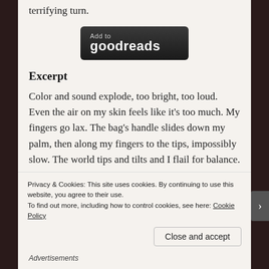terrifying turn.
[Figure (other): Add to Goodreads button — dark rounded rectangle with 'Add to' in grey and 'goodreads' in white bold text]
Excerpt
Color and sound explode, too bright, too loud. Even the air on my skin feels like it's too much. My fingers go lax. The bag's handle slides down my palm, then along my fingers to the tips, impossibly slow. The world tips and tilts and I flail for balance.
Luka grabs my hand and holds tight.
Privacy & Cookies: This site uses cookies. By continuing to use this website, you agree to their use.
To find out more, including how to control cookies, see here: Cookie Policy
Close and accept
Advertisements